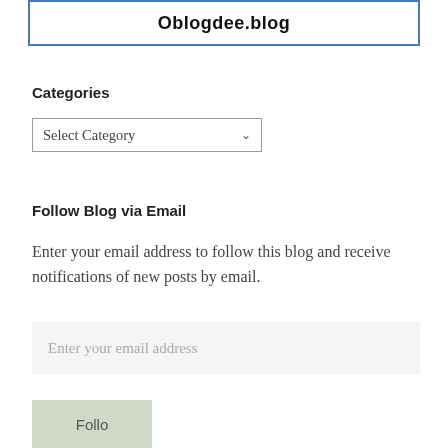Oblogdee.blog
Categories
[Figure (screenshot): A dropdown select box with text 'Select Category' and a chevron arrow on the right]
Follow Blog via Email
Enter your email address to follow this blog and receive notifications of new posts by email.
[Figure (screenshot): An email input field with placeholder text 'Enter your email address']
[Figure (screenshot): A 'Follow' button partially visible at the bottom]